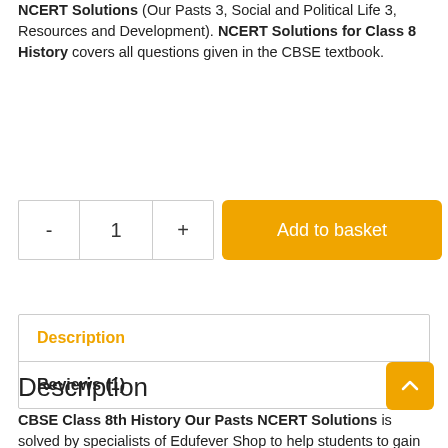NCERT Solutions (Our Pasts 3, Social and Political Life 3, Resources and Development). NCERT Solutions for Class 8 History covers all questions given in the CBSE textbook.
| - | 1 | + | Add to basket |
| Description | Reviews (1) |
| --- | --- |
Description
CBSE Class 8th History Our Pasts NCERT Solutions is solved by specialists of Edufever Shop to help students to gain great marks in their final examination. We have provided the Class 8 Social Studies (SST) NCERT Solutions (Our Pasts 3, Social and Political Life